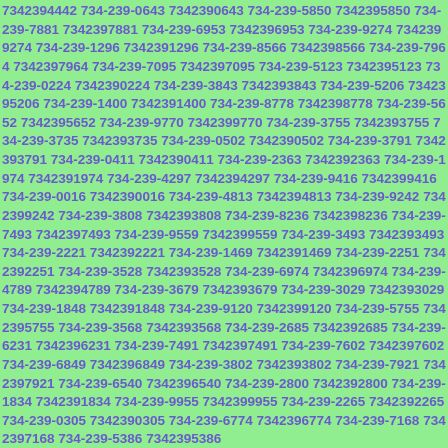7342394442 734-239-0643 7342390643 734-239-5850 7342395850 734-239-7881 7342397881 734-239-6953 7342396953 734-239-9274 7342399274 734-239-1296 7342391296 734-239-8566 7342398566 734-239-7964 7342397964 734-239-7095 7342397095 734-239-5123 7342395123 734-239-0224 7342390224 734-239-3843 7342393843 734-239-5206 7342395206 734-239-1400 7342391400 734-239-8778 7342398778 734-239-5652 7342395652 734-239-9770 7342399770 734-239-3755 7342393755 734-239-3735 7342393735 734-239-0502 7342390502 734-239-3791 7342393791 734-239-0411 7342390411 734-239-2363 7342392363 734-239-1974 7342391974 734-239-4297 7342394297 734-239-9416 7342399416 734-239-0016 7342390016 734-239-4813 7342394813 734-239-9242 7342399242 734-239-3808 7342393808 734-239-8236 7342398236 734-239-7493 7342397493 734-239-9559 7342399559 734-239-3493 7342393493 734-239-2221 7342392221 734-239-1469 7342391469 734-239-2251 7342392251 734-239-3528 7342393528 734-239-6974 7342396974 734-239-4789 7342394789 734-239-3679 7342393679 734-239-3029 7342393029 734-239-1848 7342391848 734-239-9120 7342399120 734-239-5755 7342395755 734-239-3568 7342393568 734-239-2685 7342392685 734-239-6231 7342396231 734-239-7491 7342397491 734-239-7602 7342397602 734-239-6849 7342396849 734-239-3802 7342393802 734-239-7921 7342397921 734-239-6540 7342396540 734-239-2800 7342392800 734-239-1834 7342391834 734-239-9955 7342399955 734-239-2265 7342392265 734-239-0305 7342390305 734-239-6774 7342396774 734-239-7168 7342397168 734-239-5386 7342395386